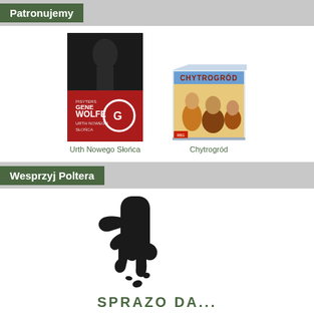Patronujemy
[Figure (photo): Book cover for 'Urth Nowego Słońca' by Gene Wolfe - dark cover with red publisher logo]
Urth Nowego Słońca
[Figure (photo): Board game box for 'Chytrogród' showing fantasy characters]
Chytrogród
Wesprzyj Poltera
[Figure (illustration): Black silhouette hand icon with coins/drops falling, above green text reading 'SPRAZO DAL' (partially visible)]